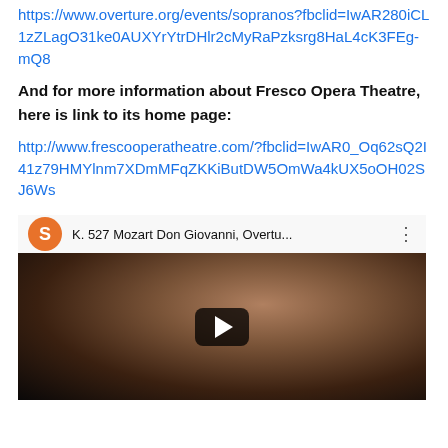https://www.overture.org/events/sopranos?fbclid=IwAR280iCL1zZLagO31ke0AUXYrYtrDHlr2cMyRaPzksrg8HaL4cK3FEg-mQ8
And for more information about Fresco Opera Theatre, here is link to its home page:
http://www.frescooperatheatre.com/?fbclid=IwAR0_Oq62sQ2I41z79HMYlnm7XDmMFqZKKiButDW5OmWa4kUX5oOH02SJ6Ws
[Figure (screenshot): YouTube video thumbnail showing 'K. 527 Mozart Don Giovanni, Overtu...' with a portrait of Mozart against a dark background and a play button in the center. An orange avatar with letter S is shown in the video header.]